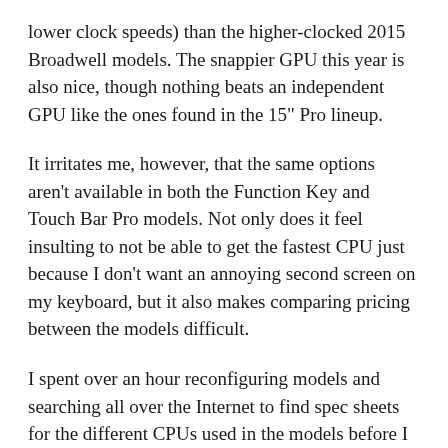lower clock speeds) than the higher-clocked 2015 Broadwell models. The snappier GPU this year is also nice, though nothing beats an independent GPU like the ones found in the 15" Pro lineup.
It irritates me, however, that the same options aren't available in both the Function Key and Touch Bar Pro models. Not only does it feel insulting to not be able to get the fastest CPU just because I don't want an annoying second screen on my keyboard, but it also makes comparing pricing between the models difficult.
I spent over an hour reconfiguring models and searching all over the Internet to find spec sheets for the different CPUs used in the models before I came to the conclusion (which I found later to be somewhat incorrect) that the 3.1 GHz i5 would be adequate for my needs. This is not the customer experience I normally have when purchasing Apple products. It feels more like the era that produced the Performa 637CD or 6360, Power Macintosh 6200, etc... all those models that had such slight differences and were a